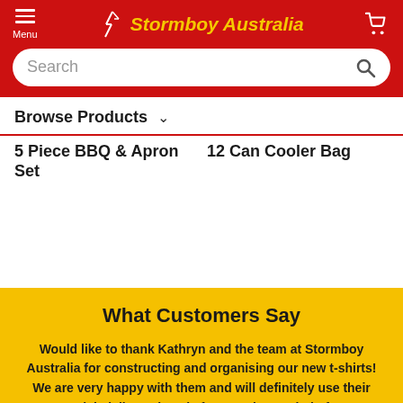Stormboy Australia
Browse Products
5 Piece BBQ & Apron Set
12 Can Cooler Bag
What Customers Say
Would like to thank Kathryn and the team at Stormboy Australia for constructing and organising our new t-shirts! We are very happy with them and will definitely use their very quick delivery, hassle free service again in future!